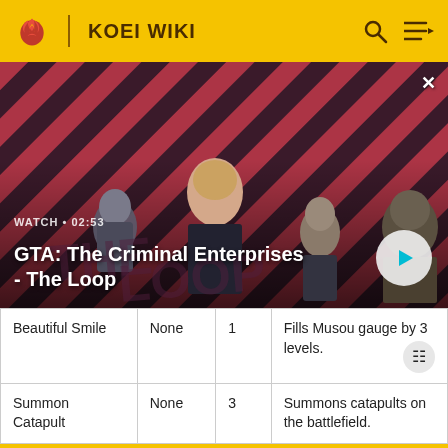KOEI WIKI
[Figure (screenshot): Video banner showing GTA: The Criminal Enterprises - The Loop promotional image with characters on a striped red and dark background. Shows WATCH • 02:53 label and a play button.]
GTA: The Criminal Enterprises - The Loop
| Beautiful Smile | None | 1 | Fills Musou gauge by 3 levels. |
| Summon Catapult | None | 3 | Summons catapults on the battlefield. |